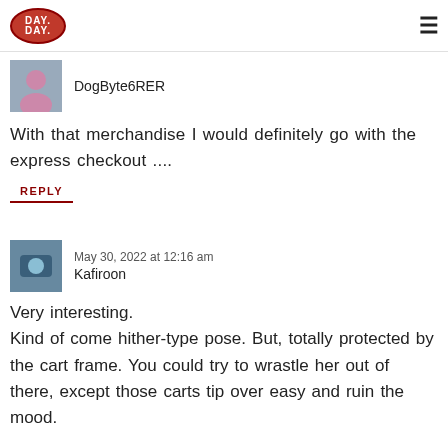DAY DAY (logo) | hamburger menu
[Figure (logo): DAY DAY .com logo oval red]
DogByte6RER
With that merchandise I would definitely go with the express checkout ....
REPLY
May 30, 2022 at 12:16 am
Kafiroon
Very interesting.
Kind of come hither-type pose. But, totally protected by the cart frame. You could try to wrastle her out of there, except those carts tip over easy and ruin the mood.